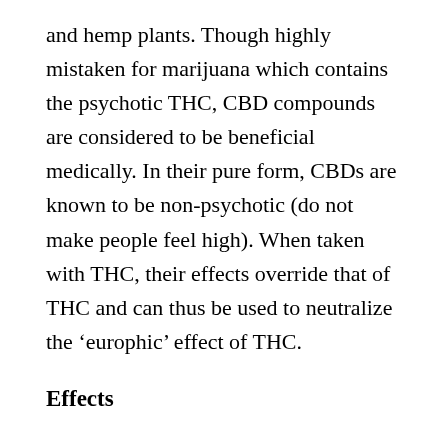and hemp plants. Though highly mistaken for marijuana which contains the psychotic THC, CBD compounds are considered to be beneficial medically. In their pure form, CBDs are known to be non-psychotic (do not make people feel high). When taken with THC, their effects override that of THC and can thus be used to neutralize the ‘europhic’ effect of THC.
Effects
The CBDs are known to have effect on endocannabis system. This system is responsible for other body processes like movement disorder, appetite, mood, memory and circadian rhythms. It complements